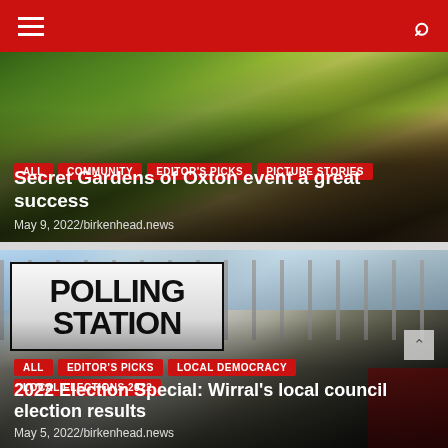Navigation bar with hamburger menu and search icon
[Figure (photo): Aerial/elevated view of lush garden with colorful flowers, trees, and visitors at Secret Gardens of Oxton event]
ALL
COMMUNITY
EDITOR'S PICKS
PICTURE STORIES
Secret Gardens of Oxton event a great success
May 9, 2022/birkenhead.news
[Figure (photo): Polling station sign visible through metal gate railings with blue sky and buildings in background]
ALL
EDITOR'S PICKS
LOCAL DEMOCRACY
LOCAL ELECTIONS 2022
2022 Election Special: Wirral's local council election results
May 5, 2022/birkenhead.news